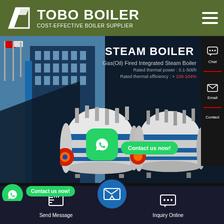[Figure (screenshot): TOBO BOILER website header with olive/dark green background, company logo (trapezoid shape), company name 'TOBO BOILER' in bold white, tagline 'COST-EFFECTIVE BOILER SUPPLIER', and hamburger menu icon on right]
[Figure (screenshot): Website hero banner showing STEAM BOILER product: Gas(Oil) Fired Integrated Steam Boiler with rated thermal power 0.1-50t/h and rated thermal efficiency >100-104%, two boiler product images (white/blue cylindrical boilers with red burners), building/factory background on left side, Chat and Email sidebar buttons on right, WhatsApp contact button and 'Contact us now!' green button at bottom]
20 Ton gas fired Boiler For Sale
[Figure (screenshot): Bottom navigation bar with Send Message icon, center email/envelope icon in blue circle, and Inquiry Online icon, set against dark navy background]